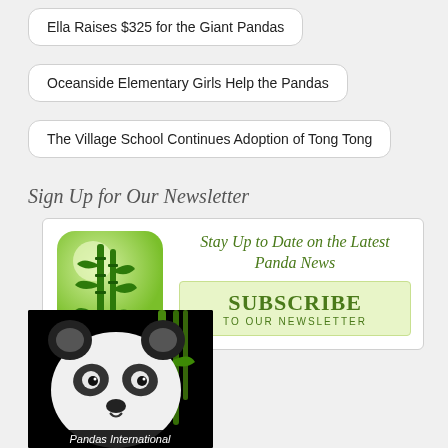Ella Raises $325 for the Giant Pandas
Oceanside Elementary Girls Help the Pandas
The Village School Continues Adoption of Tong Tong
Sign Up for Our Newsletter
[Figure (infographic): Newsletter signup box with bamboo icon on the left and text 'Stay Up to Date on the Latest Panda News' and a subscribe button on the right]
[Figure (illustration): Black-bordered image of a giant panda face with bamboo, with text 'Pandas International' at the bottom]